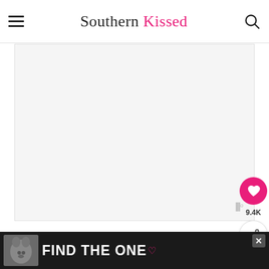Southern Kissed
[Figure (other): Ad placeholder area, light gray background]
Video
[Figure (screenshot): Video player showing 'Unfried Ice Cream' with food image; WHAT'S NEXT arrow, No-Churn Cookie Dou... thumbnail]
[Figure (other): Ad banner with dog image and text FIND THE ONE with close button]